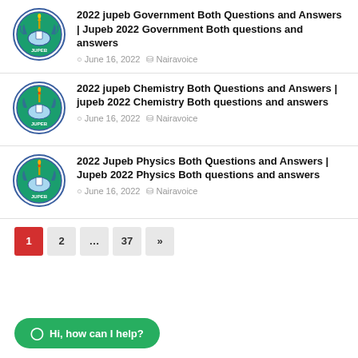2022 jupeb Government Both Questions and Answers | Jupeb 2022 Government Both questions and answers
June 16, 2022  Nairavoice
2022 jupeb Chemistry Both Questions and Answers | jupeb 2022 Chemistry Both questions and answers
June 16, 2022  Nairavoice
2022 Jupeb Physics Both Questions and Answers | Jupeb 2022 Physics Both questions and answers
June 16, 2022  Nairavoice
Pagination: 1  2  ...  37  »
Hi, how can I help?